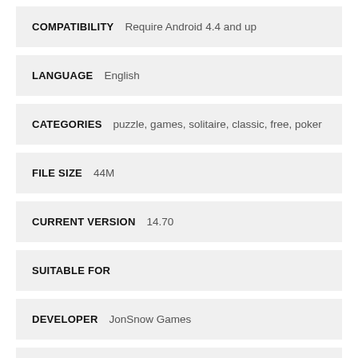COMPATIBILITY   Require Android 4.4 and up
LANGUAGE   English
CATEGORIES   puzzle, games, solitaire, classic, free, poker
FILE SIZE   44M
CURRENT VERSION   14.70
SUITABLE FOR
DEVELOPER   JonSnow Games
DOWNLOADS   835